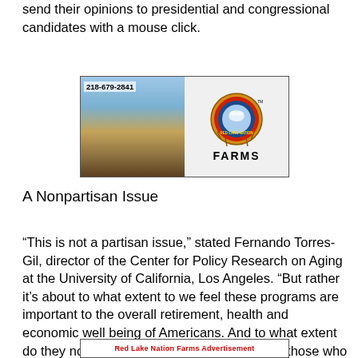send their opinions to presidential and congressional candidates with a mouse click.
[Figure (photo): Advertisement for Red Lake Nation Farms showing a field of tall grass/reeds on the left side with phone number 218-679-2841, and a circular tribal logo on the right with the word FARMS below it.]
A Nonpartisan Issue
“This is not a partisan issue,” stated Fernando Torres-Gil, director of the Center for Policy Research on Aging at the University of California, Los Angeles. “But rather it’s about to what extent to we feel these programs are important to the overall retirement, health and economic well being of Americans. And to what extent do they now comprise a crucial safety net for those who otherwise would be deeply in poverty.”
[Figure (photo): Partial view of another Red Lake Nation Farms advertisement banner at the bottom of the page.]